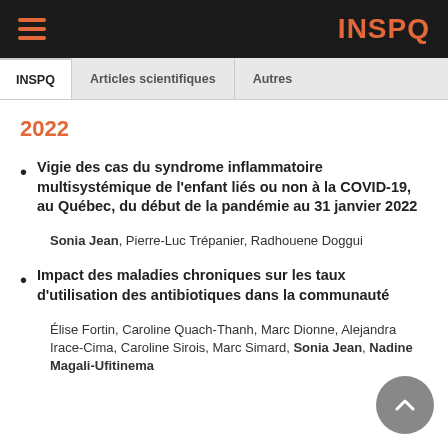INSPQ
INSPQ | Articles scientifiques | Autres
2022
Vigie des cas du syndrome inflammatoire multisystémique de l'enfant liés ou non à la COVID-19, au Québec, du début de la pandémie au 31 janvier 2022
Sonia Jean, Pierre-Luc Trépanier, Radhouene Doggui
Impact des maladies chroniques sur les taux d'utilisation des antibiotiques dans la communauté
Élise Fortin, Caroline Quach-Thanh, Marc Dionne, Alejandra Irace-Cima, Caroline Sirois, Marc Simard, Sonia Jean, Nadine Magali-Ufitinema